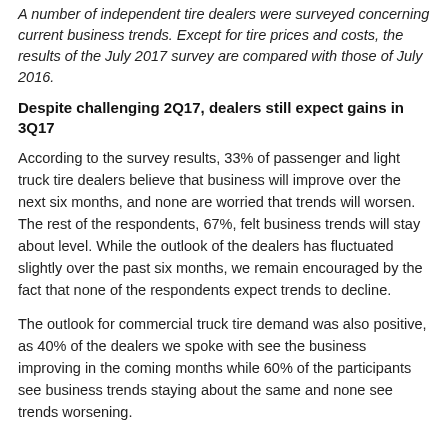A number of independent tire dealers were surveyed concerning current business trends. Except for tire prices and costs, the results of the July 2017 survey are compared with those of July 2016.
Despite challenging 2Q17, dealers still expect gains in 3Q17
According to the survey results, 33% of passenger and light truck tire dealers believe that business will improve over the next six months, and none are worried that trends will worsen. The rest of the respondents, 67%, felt business trends will stay about level. While the outlook of the dealers has fluctuated slightly over the past six months, we remain encouraged by the fact that none of the respondents expect trends to decline.
The outlook for commercial truck tire demand was also positive, as 40% of the dealers we spoke with see the business improving in the coming months while 60% of the participants see business trends staying about the same and none see trends worsening.